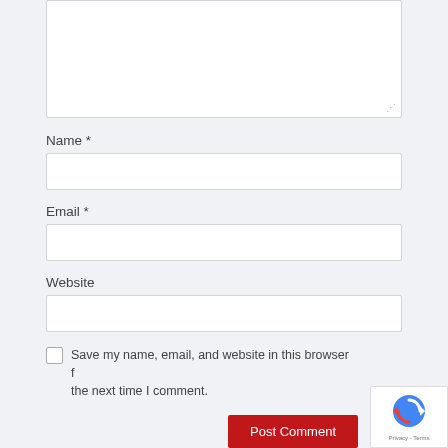[Figure (screenshot): Bottom portion of a comment form with textarea (partially visible), Name field, Email field, Website field, save checkbox, Post Comment button, and reCAPTCHA badge overlay.]
Name *
Email *
Website
Save my name, email, and website in this browser for the next time I comment.
Post Comment